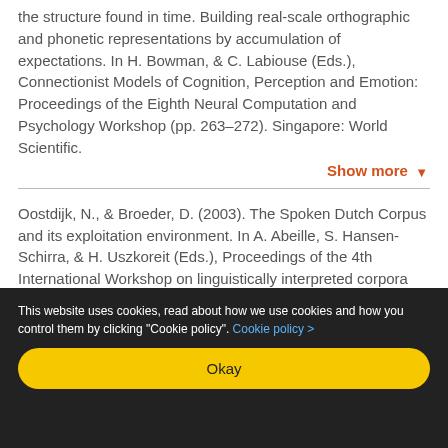the structure found in time. Building real-scale orthographic and phonetic representations by accumulation of expectations. In H. Bowman, & C. Labiouse (Eds.), Connectionist Models of Cognition, Perception and Emotion: Proceedings of the Eighth Neural Computation and Psychology Workshop (pp. 263–272). Singapore: World Scientific.
Show more ▾
Oostdijk, N., & Broeder, D. (2003). The Spoken Dutch Corpus and its exploitation environment. In A. Abeille, S. Hansen-Schirra, & H. Uszkoreit (Eds.), Proceedings of the 4th International Workshop on linguistically interpreted corpora (LINC-03) (pp. 93–101).
Show more ▾
This website uses cookies, read about how we use cookies and how you control them by clicking "Cookie policy". Cookie policy >